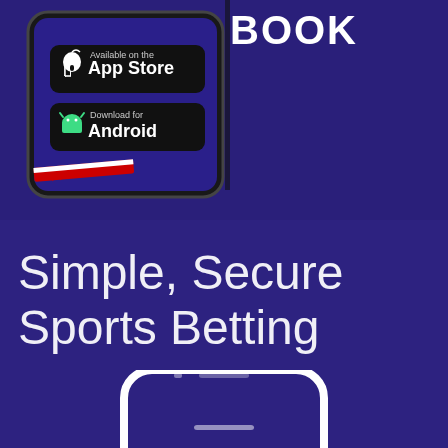[Figure (screenshot): A smartphone displaying a sports betting app (partially visible text 'BOOK' at top), showing two download buttons: 'Available on the App Store' (Apple) and 'Download for Android', with a decorative flag stripe at the bottom of the screen. Dark navy blue background.]
Simple, Secure Sports Betting
[Figure (illustration): Bottom portion of a white smartphone frame/outline on a dark blue/purple background, showing just the bottom rounded corners and home indicator area of the device.]